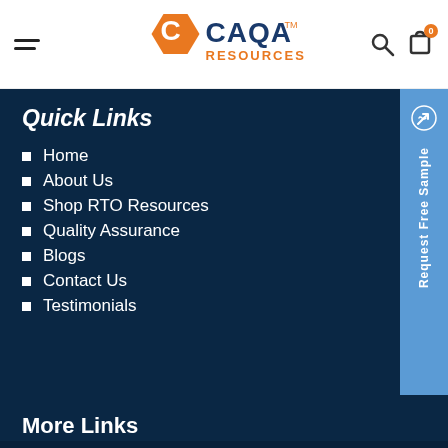[Figure (logo): CAQA Resources logo with orange hexagon C icon and blue CAQA RESOURCES text]
Quick Links
Home
About Us
Shop RTO Resources
Quality Assurance
Blogs
Contact Us
Testimonials
More Links
[Figure (infographic): Request Free Sample vertical sidebar button in blue]